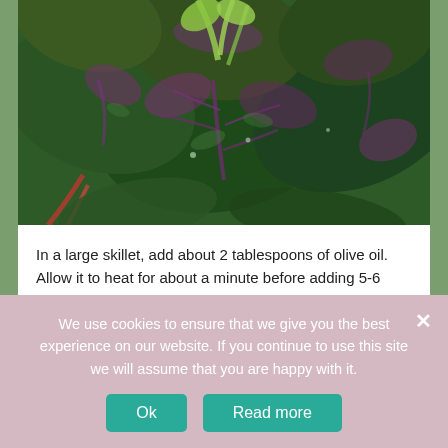[Figure (photo): Close-up photo of dark green and purple leafy vegetables, likely amaranth or red-veined sorrel leaves, piled together showing rich purple veining on dark green leaves]
In a large skillet, add about 2 tablespoons of olive oil. Allow it to heat for about a minute before adding 5-6 garlic cloves. You can smash them or mince them. It's up to you. Cook the garlic for a minute or two until they have softened and start to turn golden brown.
We use cookies to ensure that we give you the best experience on our website. If you continue to use this site we will assume that you are happy with it.